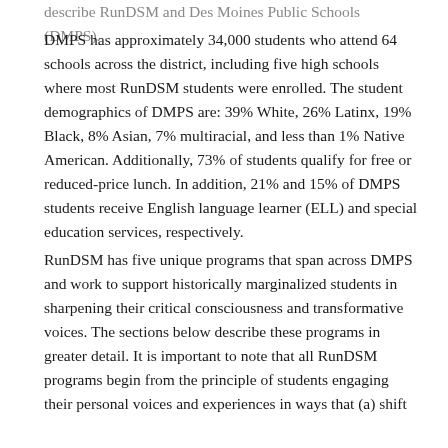describe RunDSM and Des Moines Public Schools (DMPS).
DMPS has approximately 34,000 students who attend 64 schools across the district, including five high schools where most RunDSM students were enrolled. The student demographics of DMPS are: 39% White, 26% Latinx, 19% Black, 8% Asian, 7% multiracial, and less than 1% Native American. Additionally, 73% of students qualify for free or reduced-price lunch. In addition, 21% and 15% of DMPS students receive English language learner (ELL) and special education services, respectively.
RunDSM has five unique programs that span across DMPS and work to support historically marginalized students in sharpening their critical consciousness and transformative voices. The sections below describe these programs in greater detail. It is important to note that all RunDSM programs begin from the principle of students engaging their personal voices and experiences in ways that (a) shift